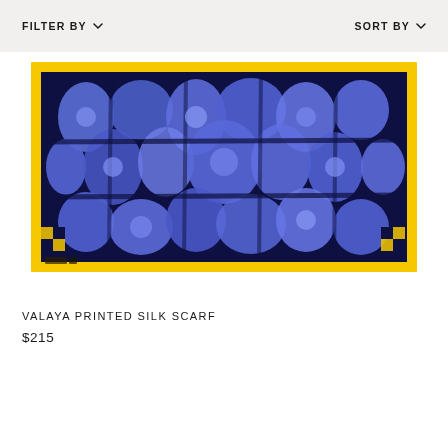FILTER BY   SORT BY
[Figure (photo): A rectangular silk scarf with a blue and purple mosaic/geometric Islamic tile pattern on a dark navy background, bordered by a bright yellow/gold frame. The scarf is laid flat horizontally.]
VALAYA PRINTED SILK SCARF
$215